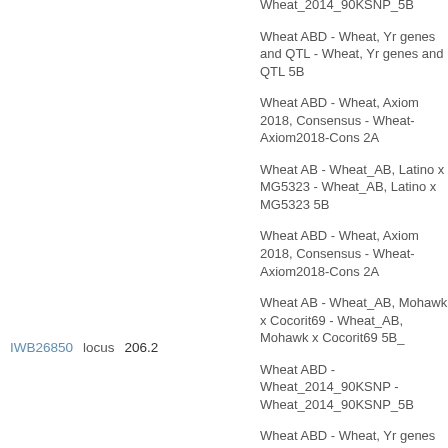Wheat_2014_90KSNP_5B
Wheat ABD - Wheat, Yr genes and QTL - Wheat, Yr genes and QTL 5B
Wheat ABD - Wheat, Axiom 2018, Consensus - Wheat-Axiom2018-Cons 2A
Wheat AB - Wheat_AB, Latino x MG5323 - Wheat_AB, Latino x MG5323 5B
Wheat ABD - Wheat, Axiom 2018, Consensus - Wheat-Axiom2018-Cons 2A
Wheat AB - Wheat_AB, Mohawk x Cocorit69 - Wheat_AB, Mohawk x Cocorit69 5B_
IWB26850    locus  206.2
Wheat ABD - Wheat_2014_90KSNP - Wheat_2014_90KSNP_5B
Wheat ABD - Wheat, Yr genes and QTL - Wheat, Yr genes and QTL 5B
Wheat ABD - Wheat, Yr Update, 2021 - Wheat_Yr_2021-5B